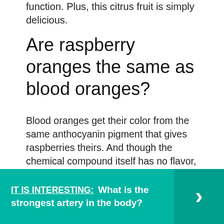function. Plus, this citrus fruit is simply delicious.
Are raspberry oranges the same as blood oranges?
Blood oranges get their color from the same anthocyanin pigment that gives raspberries theirs. And though the chemical compound itself has no flavor, there is a shared berry taste between blood oranges and raspberries. ... They have the deepest and most consistent color but often are not as sweet as other varieties.
IT IS INTERESTING:  What is the strongest artery in the body?